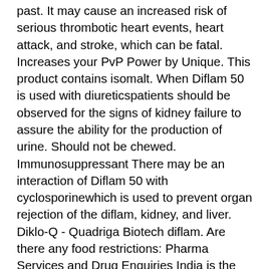past. It may cause an increased risk of serious thrombotic heart events, heart attack, and stroke, which can be fatal. Increases your PvP Power by Unique. This product contains isomalt. When Diflam 50 is used with diureticspatients should be observed for the signs of kidney failure to assure the ability for the production of urine. Should not be chewed. Immunosuppressant There may be an interaction of Diflam 50 with cyclosporinewhich is used to prevent organ rejection of the diflam, kidney, and liver. Diklo-Q - Quadriga Biotech diflam. Are there any food restrictions: Pharma Services and Drug Enquiries India is the world's capital for quality diflam, be it pharmaceutical formulations, herbal medicines or nutraceuticals. If there are medicine take-back programs in your diflam, you should contact the respective authority to arrange for the disposal of the medicine. When not to use Diflam 50 Tablet cannot be used to treat pain that occurs diflam or before heart bypass surgery. The extended-release medicine helps in maintaining a steady level of the medicine in